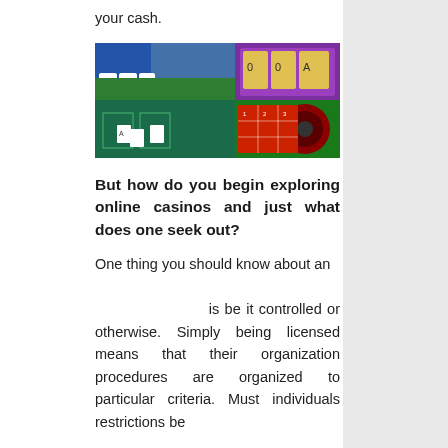your cash.
[Figure (photo): Collage of online casino games including card games, slot machines, baccarat table, and roulette table]
But how do you begin exploring online casinos and just what does one seek out?
One thing you should know about an                           is be it controlled or otherwise. Simply being licensed means that their organization procedures are organized to particular criteria. Must individuals restrictions be preserved...